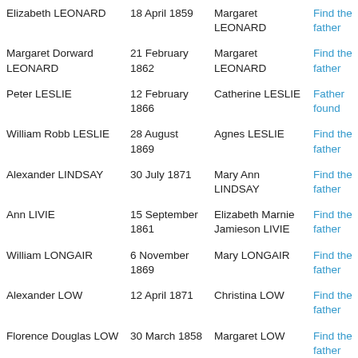| Name | Date | Mother | Action |
| --- | --- | --- | --- |
| Elizabeth LEONARD | 18 April 1859 | Margaret LEONARD | Find the father |
| Margaret Dorward LEONARD | 21 February 1862 | Margaret LEONARD | Find the father |
| Peter LESLIE | 12 February 1866 | Catherine LESLIE | Father found |
| William Robb LESLIE | 28 August 1869 | Agnes LESLIE | Find the father |
| Alexander LINDSAY | 30 July 1871 | Mary Ann LINDSAY | Find the father |
| Ann LIVIE | 15 September 1861 | Elizabeth Marnie Jamieson LIVIE | Find the father |
| William LONGAIR | 6 November 1869 | Mary LONGAIR | Find the father |
| Alexander LOW | 12 April 1871 | Christina LOW | Find the father |
| Florence Douglas LOW | 30 March 1858 | Margaret LOW | Find the father |
| Hannah LOW | 28 July 1868 | Christian LOW | Find the father |